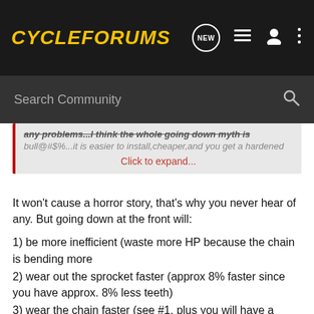CycleForums
any problems...I think the whole going down myth is bull@#$%...it is easier to install,cheaper,and you get a hardened
Click to expand...
It won't cause a horror story, that's why you never hear of any. But going down at the front will:
1) be more inefficient (waste more HP because the chain is bending more
2) wear out the sprocket faster (approx 8% faster since you have approx. 8% less teeth)
3) wear the chain faster (see #1, plus you will have a shorter chain doing the same amount of work = more wear).
Will you notice these? Probably not, but then again some people say they can notice a 520 conversion 🙄